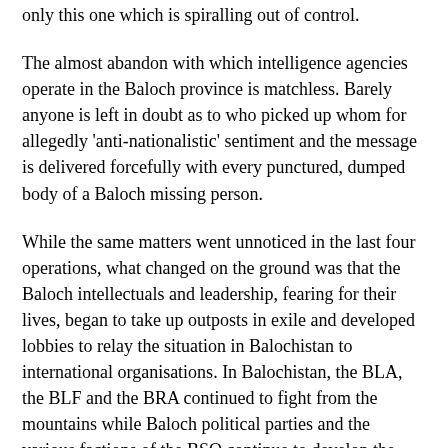only this one which is spiralling out of control.
The almost abandon with which intelligence agencies operate in the Baloch province is matchless. Barely anyone is left in doubt as to who picked up whom for allegedly 'anti-nationalistic' sentiment and the message is delivered forcefully with every punctured, dumped body of a Baloch missing person.
While the same matters went unnoticed in the last four operations, what changed on the ground was that the Baloch intellectuals and leadership, fearing for their lives, began to take up outposts in exile and developed lobbies to relay the situation in Balochistan to international organisations. In Balochistan, the BLA, the BLF and the BRA continued to fight from the mountains while Baloch political parties and the various factions of the BSO continue to develop the space on the ground to unite the Baloch community and speak to the few in the Pakistani media that still want to hear a Baloch